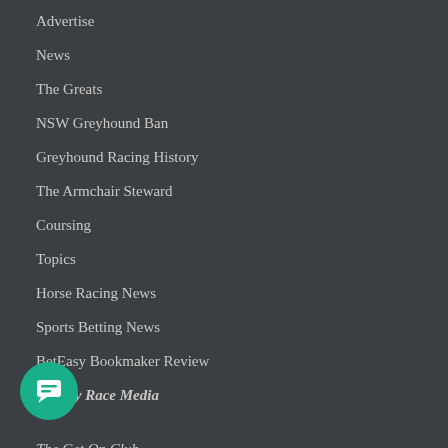Advertise
News
The Greats
NSW Greyhound Ban
Greyhound Racing History
The Armchair Steward
Coursing
Topics
Horse Racing News
Sports Betting News
BetEasy Bookmaker Review
Also by Race Media
The Get On Club
[Figure (illustration): Teal circular chat/message button icon at bottom left]